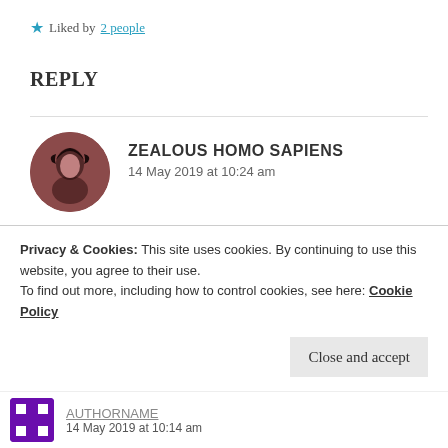★ Liked by 2 people
REPLY
ZEALOUS HOMO SAPIENS
14 May 2019 at 10:24 am
Hehe, thank you Tushara!
★ Liked by 1 person
Privacy & Cookies: This site uses cookies. By continuing to use this website, you agree to their use.
To find out more, including how to control cookies, see here: Cookie Policy
Close and accept
14 May 2019 at 10:14 am